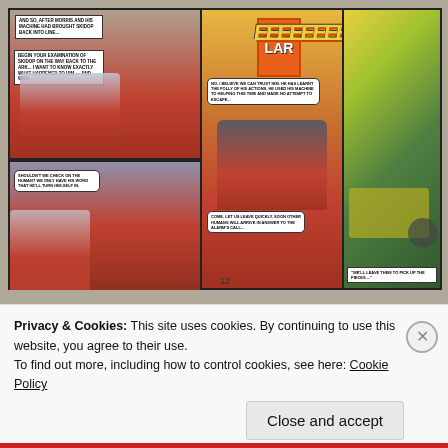[Figure (illustration): Transformers comic book page showing multiple panels with robot characters, speech bubbles, and sound effects. Panel 1 (top-left): caption 'AND SO, AFTER MORRIS AND HIS MACHINE HAD BROUGHT SKIDOP BACK INTO LINE...' and 'BEGIN YOUR EXAMINATION OF SKIDOP ON THE WAY BACK TO THE ARK... I WANT TO KNOW EXACTLY WHAT HAPPENED TO HIM — AND WHY.' Panel 2 (center): Optimus Prime face close-up with speech bubble 'NO, I BELIEVE WE CAN TRUST HIM. HE HAS LEARNT THE FOLLY OF HIS ACTIONS. HE USED HIS MACHINE TO HELPING THIS TIME AND MADE NO ATTEMPT TO ESCAPE...' Large orange/yellow EEEEEEE sound effect. Panel 3 (right): battle/aftermath scene. Panel 4 (bottom-left): speech bubbles 'SHOULDN'T WE CHECK ON THE HUMAN? WE ONLY HAVE HIS WORD THAT HE'LL TURN HIM-SELF IN.' and 'COME, LET US LEAVE QUICKLY. SOON OTHER HUMANS WILL ARRIVE IN ANSWER TO THE ALARM'S CALL...' and caption '"WE'LL LEAVE THEM TO PICK UP THE PIECES..."'. Page number 12 at bottom.]
In conclusion, it's an okay story which is not too spectacular but is elevated somewhat by the return of
Privacy & Cookies: This site uses cookies. By continuing to use this website, you agree to their use.
To find out more, including how to control cookies, see here: Cookie Policy
Close and accept